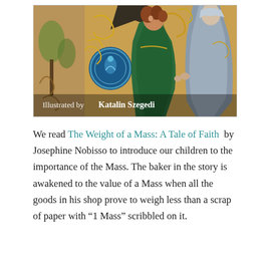[Figure (illustration): Book cover illustration of 'The Weight of a Mass: A Tale of Faith' illustrated by Katalin Szegedi. Shows medieval-style artwork with figures in ornate robes, golden and green tones, a blue circular seal/award badge, and text 'Illustrated by Katalin Szegedi' at the bottom.]
We read The Weight of a Mass: A Tale of Faith by Josephine Nobisso to introduce our children to the importance of the Mass. The baker in the story is awakened to the value of a Mass when all the goods in his shop prove to weigh less than a scrap of paper with “1 Mass” scribbled on it.